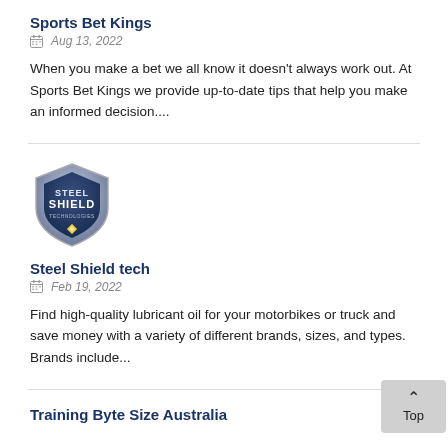Sports Bet Kings
Aug 13, 2022
When you make a bet we all know it doesn't always work out. At Sports Bet Kings we provide up-to-date tips that help you make an informed decision....
[Figure (logo): Steel Shield Technologies logo — a shield emblem with silver/blue/yellow coloring]
Steel Shield tech
Feb 19, 2022
Find high-quality lubricant oil for your motorbikes or truck and save money with a variety of different brands, sizes, and types. Brands include...
Training Byte Size Australia